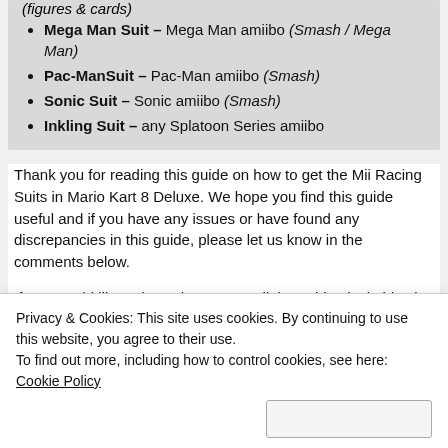(figures & cards)
Mega Man Suit – Mega Man amiibo (Smash / Mega Man)
Pac-ManSuit – Pac-Man amiibo (Smash)
Sonic Suit – Sonic amiibo (Smash)
Inkling Suit – any Splatoon Series amiibo
Thank you for reading this guide on how to get the Mii Racing Suits in Mario Kart 8 Deluxe. We hope you find this guide useful and if you have any issues or have found any discrepancies in this guide, please let us know in the comments below.
If you would like to know how to get all the gold unlockables in Mario Kart 8 Deluxe, be sure to check out our guide here.
You can learn more about Mario Kart 8 Deluxe via the official Nintendo website.
Share this:
Privacy & Cookies: This site uses cookies. By continuing to use this website, you agree to their use. To find out more, including how to control cookies, see here: Cookie Policy